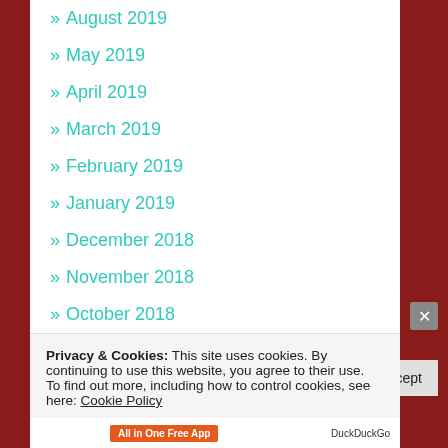» August 2019
» May 2019
» April 2019
» March 2019
» February 2019
» January 2019
» December 2018
» November 2018
» October 2018
» September 2018
» August 2018
Privacy & Cookies: This site uses cookies. By continuing to use this website, you agree to their use. To find out more, including how to control cookies, see here: Cookie Policy
Close and accept